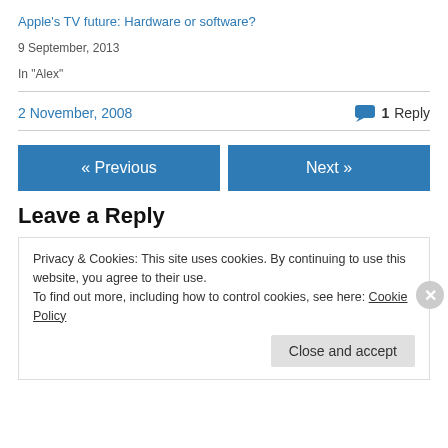Apple's TV future: Hardware or software?
9 September, 2013
In "Alex"
2 November, 2008
1 Reply
« Previous
Next »
Leave a Reply
Privacy & Cookies: This site uses cookies. By continuing to use this website, you agree to their use.
To find out more, including how to control cookies, see here: Cookie Policy
Close and accept